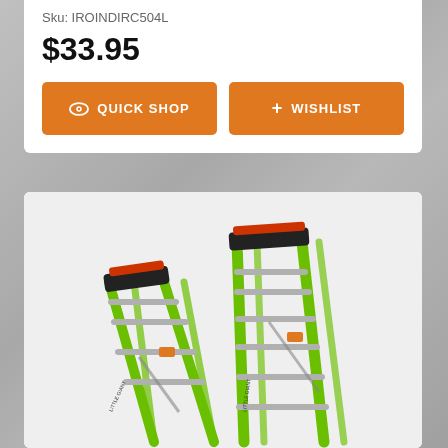Sku: IROINDIRC504L
$33.95
QUICK SHOP
+ WISHLIST
[Figure (photo): Two green Little Giant ladders (step ladders) shown side by side at different angles on a light grey background. The ladders are bright lime green with orange and black accents at the top. One ladder is shorter (4-step) and one is taller (7-step). Both have aluminum rungs.]